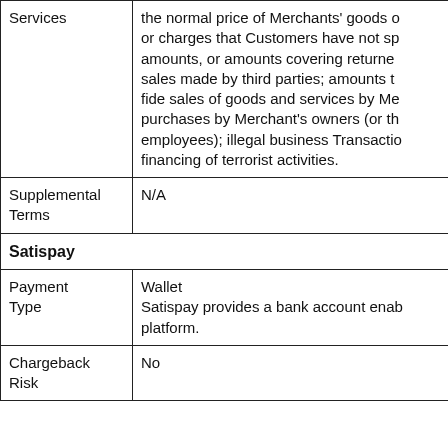| Services | the normal price of Merchants' goods or charges that Customers have not sp amounts, or amounts covering returned sales made by third parties; amounts fide sales of goods and services by Me purchases by Merchant's owners (or th employees); illegal business Transacti financing of terrorist activities. |
| Supplemental Terms | N/A |
| Satispay |  |
| Payment Type | Wallet
Satispay provides a bank account enab platform. |
| Chargeback Risk | No |